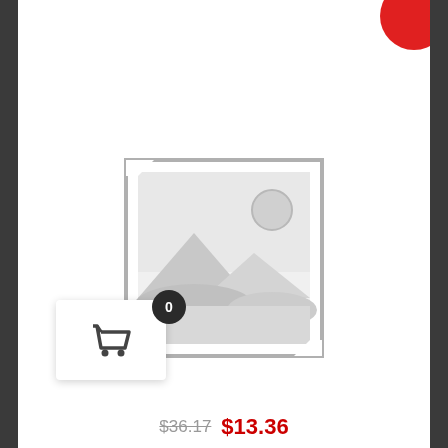[Figure (illustration): Placeholder image icon showing a landscape with mountains and sun inside a square frame with grey border]
[Figure (illustration): Shopping cart widget with dark circular badge showing number 0, white box with cart icon]
$36.17  $13.36